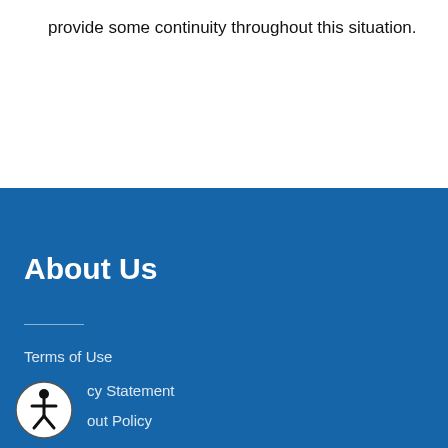provide some continuity throughout this situation.
About Us
Terms of Use
Privacy Statement
Copyright Policy